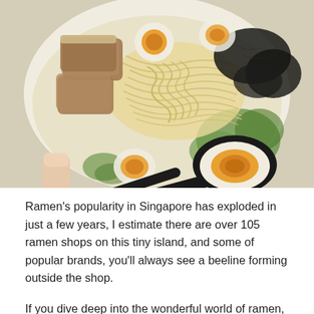[Figure (photo): Overhead photo of a bowl of ramen with milky broth, noodles, braised pork slices, halved soft-boiled eggs with orange yolks, black wood-ear mushrooms, and green herbs. A black spoon holds a halved soft-boiled egg in the foreground.]
Ramen's popularity in Singapore has exploded in just a few years, I estimate there are over 105 ramen shops on this tiny island, and some of popular brands, you'll always see a beeline forming outside the shop.
If you dive deep into the wonderful world of ramen, you will